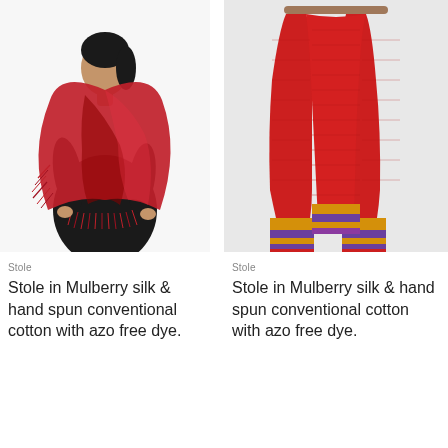[Figure (photo): A woman wearing a red mulberry silk stole with fringe edges draped over her shoulders, dressed in a black outfit, looking downward.]
[Figure (photo): A red mulberry silk stole with golden, orange, and purple border laid flat against a light grey background, hung from a wooden display rod.]
Stole
Stole in Mulberry silk & hand spun conventional cotton with azo free dye.
Stole
Stole in Mulberry silk & hand spun conventional cotton with azo free dye.